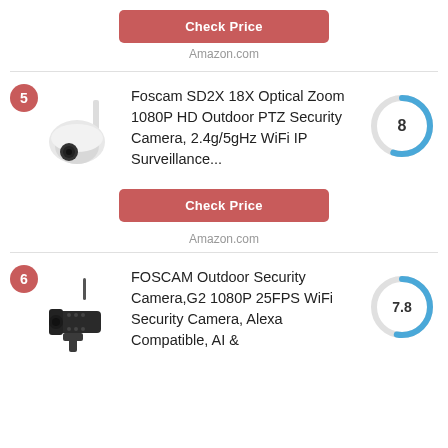[Figure (other): Red rounded button labeled Check Price]
Amazon.com
[Figure (other): Divider line]
[Figure (other): Product listing #5: Foscam SD2X PTZ camera image with red badge numbered 5 and donut chart score of 8]
Foscam SD2X 18X Optical Zoom 1080P HD Outdoor PTZ Security Camera, 2.4g/5gHz WiFi IP Surveillance...
[Figure (other): Red rounded button labeled Check Price]
Amazon.com
[Figure (other): Divider line]
[Figure (other): Product listing #6: FOSCAM G2 bullet camera image with red badge numbered 6 and donut chart score of 7.8]
FOSCAM Outdoor Security Camera,G2 1080P 25FPS WiFi Security Camera, Alexa Compatible, AI &